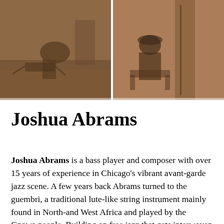[Figure (photo): Two sepia-toned photographs side by side. Left photo shows a person outdoors, possibly working or bent over in a field or outdoor setting. Right photo shows a person seated indoors, possibly at a desk or table.]
Joshua Abrams
Joshua Abrams is a bass player and composer with over 15 years of experience in Chicago's vibrant avant-garde jazz scene. A few years back Abrams turned to the guembri, a traditional lute-like string instrument mainly found in North-and West Africa and played by the Gnawa people. Building on free jazz that gets interwoven with African-Arabian traditional folk music generating a harsh sounding, repetitive and highly hypnotic sort of music. Abrams has worked alongside luminaries like Matana Roberts, Henry Grimes